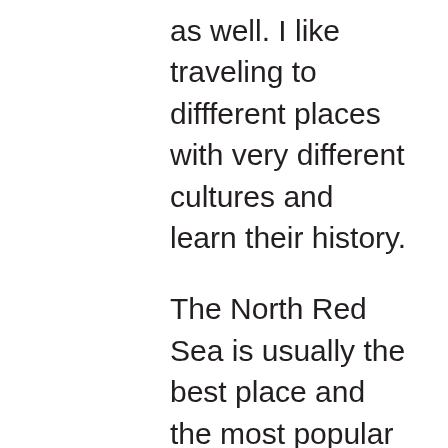as well. I like traveling to diffferent places with very different cultures and learn their history.
The North Red Sea is usually the best place and the most popular place to hang out in my opinion. It’s also perfect for anyone interested in learning to scuba dive and get to see some wrecks that are not too deep.
The 4 are also great